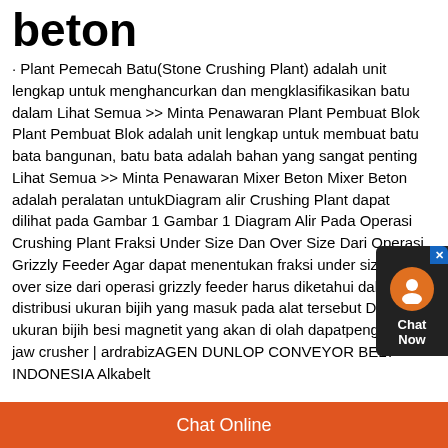beton
· Plant Pemecah Batu(Stone Crushing Plant) adalah unit lengkap untuk menghancurkan dan mengklasifikasikan batu dalam Lihat Semua >> Minta Penawaran Plant Pembuat Blok Plant Pembuat Blok adalah unit lengkap untuk membuat batu bata bangunan, batu bata adalah bahan yang sangat penting Lihat Semua >> Minta Penawaran Mixer Beton Mixer Beton adalah peralatan untukDiagram alir Crushing Plant dapat dilihat pada Gambar 1 Gambar 1 Diagram Alir Pada Operasi Crushing Plant Fraksi Under Size Dan Over Size Dari Operasi Grizzly Feeder Agar dapat menentukan fraksi under size dan over size dari operasi grizzly feeder harus diketahui dahulu distribusi ukuran bijih yang masuk pada alat tersebut Distribusi ukuran bijih besi magnetit yang akan di olah dapatpengertian jaw crusher | ardrabizAGEN DUNLOP CONVEYOR BELT INDONESIA Alkabelt
[Figure (other): Chat support widget with avatar and Chat Now label]
Chat Online